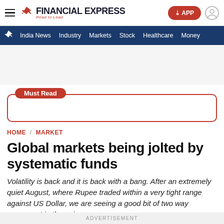FINANCIAL EXPRESS — Read to Lead
India News | Industry | Markets | Stock | Healthcare | Money
Must Read
HOME / MARKET
Global markets being jolted by systematic funds
Volatility is back and it is back with a bang. After an extremely quiet August, where Rupee traded within a very tight range against US Dollar, we are seeing a good bit of two way movement in the pair.
ADVERTISEMENT